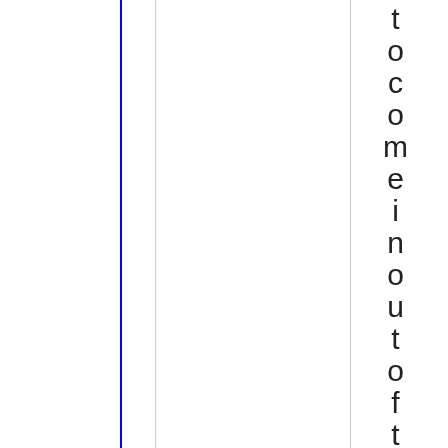[Figure (other): Page with vertical blue and gray rule lines on the left portion, and vertically stacked individual letters spelling 'to come in out of the rai' reading top to bottom on the right side]
to come in out of the rai